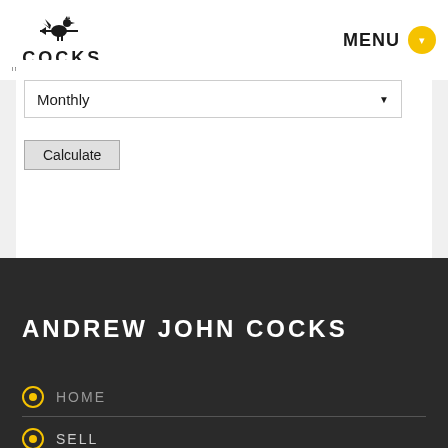[Figure (logo): Cocks International Realtors logo with rooster weathervane icon and text COCKS INTERNATIONAL REALTORS]
MENU
Monthly
Calculate
ANDREW JOHN COCKS
HOME
Sell